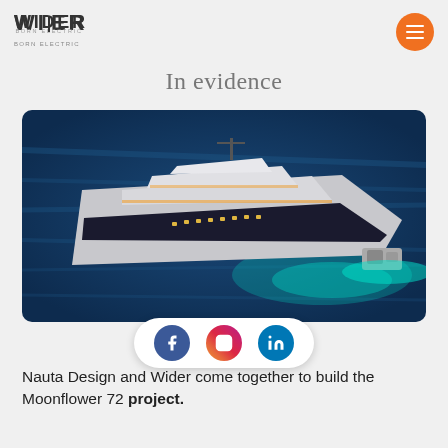WIDER BORN ELECTRIC
In evidence
[Figure (photo): Aerial view of a large luxury superyacht (Moonflower 72) on dark blue ocean water, illuminated with warm lighting, viewed from above and slightly behind the stern.]
Nauta Design and Wider come together to build the Moonflower 72 project.